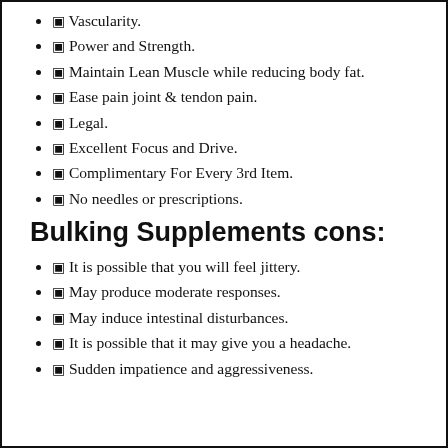✓ Vascularity.
✓ Power and Strength.
✓ Maintain Lean Muscle while reducing body fat.
✓ Ease pain joint & tendon pain.
✓ Legal.
✓ Excellent Focus and Drive.
✓ Complimentary For Every 3rd Item.
✓ No needles or prescriptions.
Bulking Supplements cons:
✓ It is possible that you will feel jittery.
✓ May produce moderate responses.
✓ May induce intestinal disturbances.
✓ It is possible that it may give you a headache.
✓ Sudden impatience and aggressiveness.